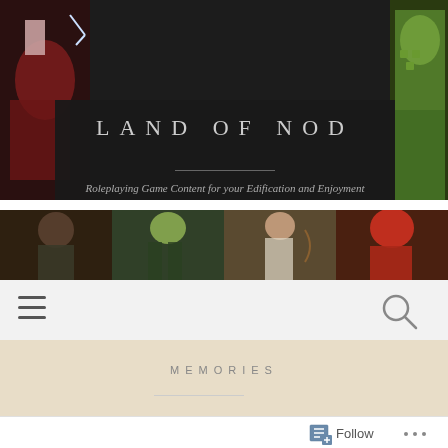[Figure (screenshot): Comic book style hero characters — female warrior with red outfit on left, green serpent/dragon figure on right, against dark background]
LAND OF NOD
Roleplaying Game Content for your Edification and Enjoyment
[Figure (illustration): Bottom banner of comic book adventurer characters including an orc, archer, female warrior, and red demon/devil figure]
[Figure (infographic): Navigation bar with hamburger menu icon on left and search magnifying glass icon on right]
MEMORIES
Follow • • •